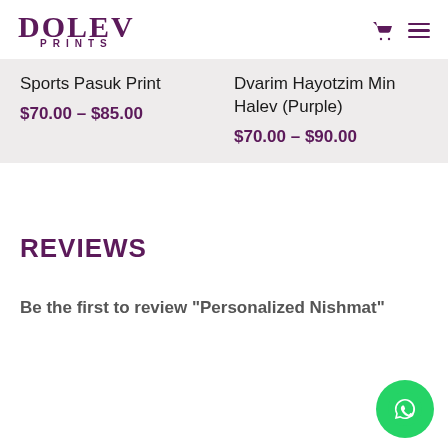DOLEV PRINTS
Sports Pasuk Print
$70.00 – $85.00
Dvarim Hayotzim Min Halev (Purple)
$70.00 – $90.00
REVIEWS
Be the first to review “Personalized Nishmat”